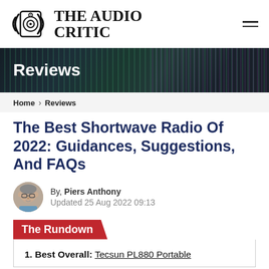THE AUDIO CRITIC
[Figure (logo): The Audio Critic logo with speaker icon and text]
Reviews
Home > Reviews
The Best Shortwave Radio Of 2022: Guidances, Suggestions, And FAQs
By, Piers Anthony
Updated 25 Aug 2022 09:13
The Rundown
1. Best Overall: Tecsun PL880 Portable